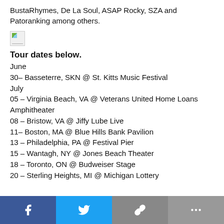BustaRhymes, De La Soul, ASAP Rocky, SZA and Patoranking among others.
[Figure (photo): Broken/missing image placeholder]
Tour dates below.
June
30– Basseterre, SKN @ St. Kitts Music Festival
July
05 – Virginia Beach, VA @ Veterans United Home Loans Amphitheater
08 – Bristow, VA @ Jiffy Lube Live
11– Boston, MA @ Blue Hills Bank Pavilion
13 – Philadelphia, PA @ Festival Pier
15 – Wantagh, NY @ Jones Beach Theater
18 – Toronto, ON @ Budweiser Stage
20 – Sterling Heights, MI @ Michigan Lottery